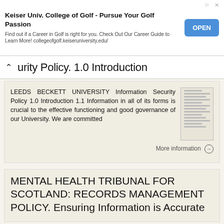[Figure (screenshot): Advertisement banner for Keiser University College of Golf with OPEN button]
urity Policy. 1.0 Introduction
LEEDS BECKETT UNIVERSITY Information Security Policy 1.0 Introduction 1.1 Information in all of its forms is crucial to the effective functioning and good governance of our University. We are committed
More information →
MENTAL HEALTH TRIBUNAL FOR SCOTLAND: RECORDS MANAGEMENT POLICY. Ensuring Information is Accurate
MENTAL HEALTH TRIBUNAL FOR SCOTLAND: RECORDS MANAGEMENT POLICY Index: Introduction Information is a